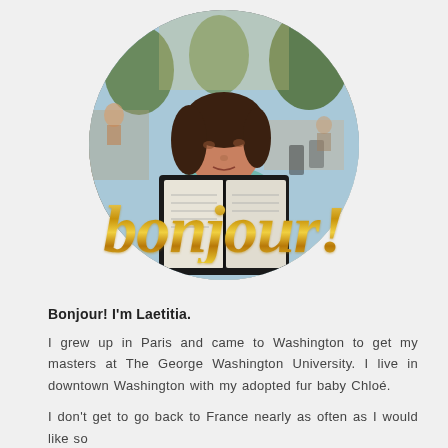[Figure (photo): Circular cropped photo of a young woman looking down at a restaurant menu at an outdoor café setting]
bonjour!
Bonjour! I'm Laetitia.
I grew up in Paris and came to Washington to get my masters at The George Washington University. I live in downtown Washington with my adopted fur baby Chloé.
I don't get to go back to France nearly as often as I would like so